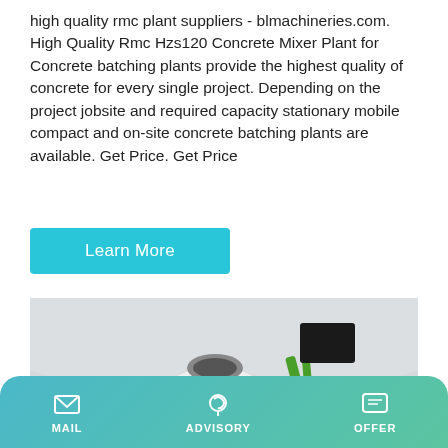high quality rmc plant suppliers - blmachineries.com. High Quality Rmc Hzs120 Concrete Mixer Plant for Concrete batching plants provide the highest quality of concrete for every single project. Depending on the project jobsite and required capacity stationary mobile compact and on-site concrete batching plants are available. Get Price. Get Price
Learn More
[Figure (photo): A green TALENET self-loading concrete mixer truck on a construction site with curved white architectural structure in the background]
MAIL   ADVISORY   OFFER